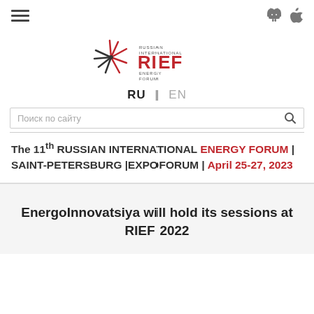RIEF — Russian International Energy Forum website header with hamburger menu and Android/Apple app icons
[Figure (logo): RIEF Russian International Energy Forum logo with starburst/asterisk graphic in red and dark, text RUSSIAN INTERNATIONAL RIEF ENERGY FORUM]
RU | EN
Поиск по сайту
The 11th RUSSIAN INTERNATIONAL ENERGY FORUM | SAINT-PETERSBURG | EXPOFORUM | April 25-27, 2023
EnergoInnovatsiya will hold its sessions at RIEF 2022